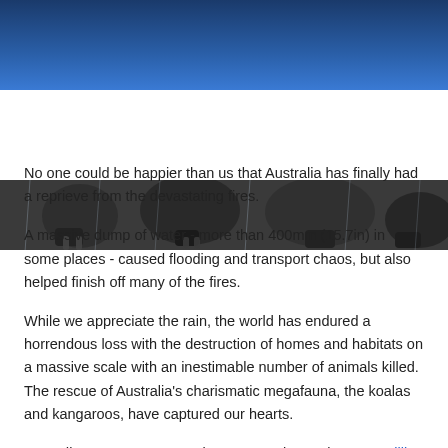Navigation header with menu button
[Figure (photo): Close-up photo of what appears to be wet animal paws or hooves on a wet surface, likely in rain, related to Australian wildlife rescue during bushfires]
No one could be happier than us that Australia has finally had a reprieve from the devastating fires.
A massive dump of water - more than 400mm (15.7in) in some places - caused flooding and transport chaos, but also helped finish off many of the fires.
While we appreciate the rain, the world has endured a horrendous loss with the destruction of homes and habitats on a massive scale with an inestimable number of animals killed. The rescue of Australia's charismatic megafauna, the koalas and kangaroos, have captured our hearts.
According to VOX News, "Since September, at least 27 million acres of Australia have burned in one of the country's worst fire seasons on record. That's an area larger than Portugal, and more